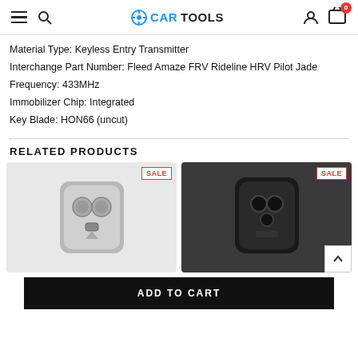CARTOOLS
Material Type: Keyless Entry Transmitter
Interchange Part Number: Fleed Amaze FRV Rideline HRV Pilot Jade
Frequency: 433MHz
Immobilizer Chip: Integrated
Key Blade: HON66 (uncut)
RELATED PRODUCTS
[Figure (photo): Car key fob/remote with silver casing showing buttons, marked SALE]
[Figure (photo): Dark/black car key fob showing interior mechanism, marked SALE]
ADD TO CART